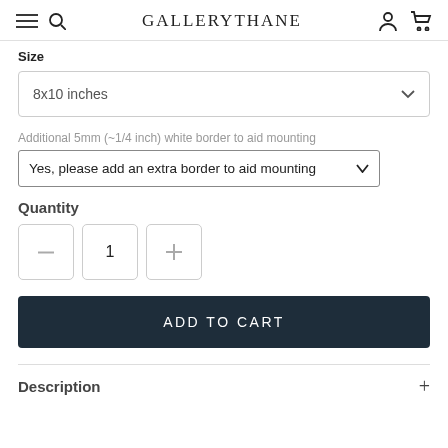GALLERYTHANE
Size
8x10 inches
Additional 5mm (~1/4 inch) white border to aid mounting
Yes, please add an extra border to aid mounting
Quantity
1
ADD TO CART
Description